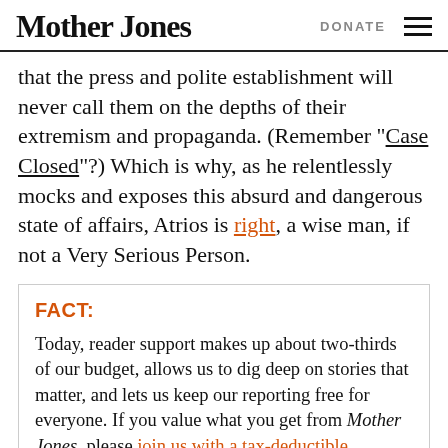Mother Jones | DONATE
that the press and polite establishment will never call them on the depths of their extremism and propaganda. (Remember “Case Closed”?) Which is why, as he relentlessly mocks and exposes this absurd and dangerous state of affairs, Atrios is right, a wise man, if not a Very Serious Person.
FACT:
Today, reader support makes up about two-thirds of our budget, allows us to dig deep on stories that matter, and lets us keep our reporting free for everyone. If you value what you get from Mother Jones, please join us with a tax-deductible donation today so we can keep on doing the type of journalism 2022 demands.